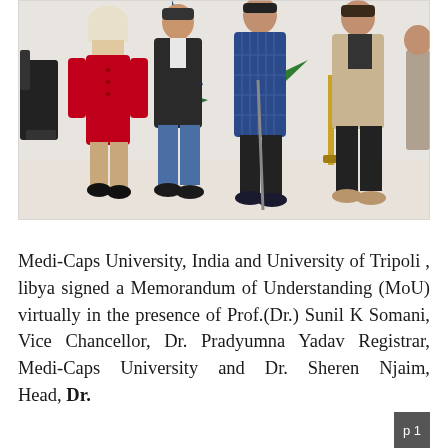[Figure (photo): Group photo of four people standing indoors against a white wall with flags on gold stands. A woman in a red coat with a patterned scarf is on the left, followed by a man in a dark jacket and jeans, a tall man in a blue plaid blazer, and a man in a beige jacket on the right. A black office chair is visible on the far left.]
Medi-Caps University, India and University of Tripoli , libya signed a Memorandum of Understanding (MoU) virtually in the presence of Prof.(Dr.) Sunil K Somani, Vice Chancellor, Dr. Pradyumna Yadav Registrar, Medi-Caps University and Dr. Sheren Njaim, Head, Dr.